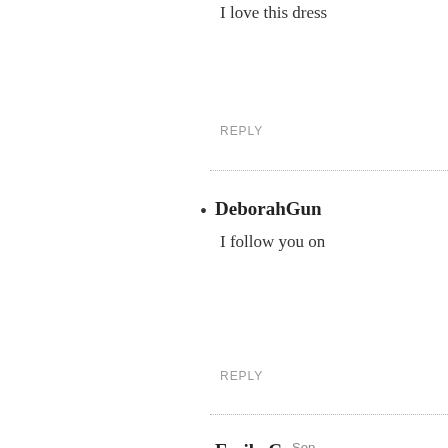I love this dress
REPLY
DeborahGun
I follow you on
REPLY
Emily C  Sep
Chelsea is ador circle print in b
REPLY
kimberlee  s
That dress is to